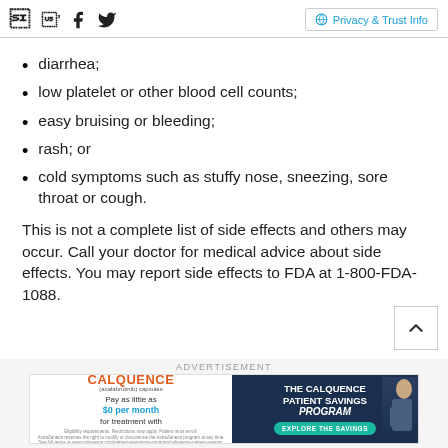Facebook Twitter | Privacy & Trust Info
diarrhea;
low platelet or other blood cell counts;
easy bruising or bleeding;
rash; or
cold symptoms such as stuffy nose, sneezing, sore throat or cough.
This is not a complete list of side effects and others may occur. Call your doctor for medical advice about side effects. You may report side effects to FDA at 1-800-FDA-1088.
[Figure (other): CALQUENCE patient savings program advertisement banner]
ADVERTISEMENT